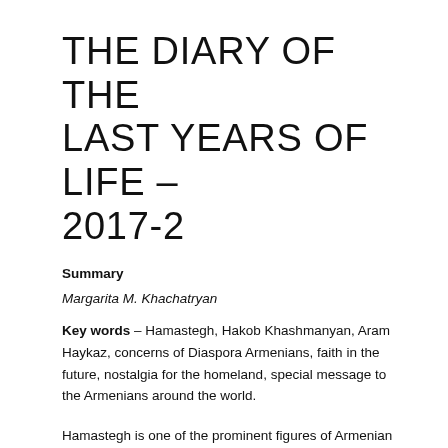THE DIARY OF THE LAST YEARS OF LIFE – 2017-2
Summary
Margarita M. Khachatryan
Key words – Hamastegh, Hakob Khashmanyan, Aram Haykaz, concerns of Diaspora Armenians, faith in the future, nostalgia for the homeland, special message to the Armenians around the world.
Hamastegh is one of the prominent figures of Armenian literature in the Diaspora. His rich literary